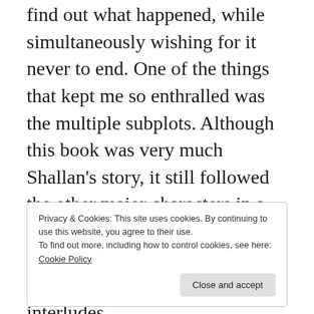find out what happened, while simultaneously wishing for it never to end. One of the things that kept me so enthralled was the multiple subplots. Although this book was very much Shallan's story, it still followed the other major characters in a very satisfying way. It also introduced several more minor characters in the form of interludes.
The story begins almost immediately after the conclusion in The Way of Kings. If you haven't read the first book, then this is not the place to
Privacy & Cookies: This site uses cookies. By continuing to use this website, you agree to their use.
To find out more, including how to control cookies, see here: Cookie Policy